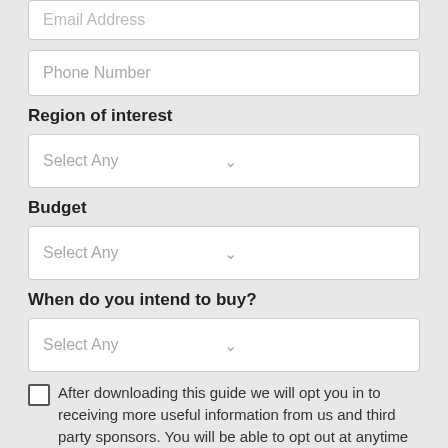[Figure (screenshot): Partial email address input field at top, placeholder text 'Email Address']
[Figure (screenshot): Phone Number input field with placeholder text]
Region of interest
[Figure (screenshot): Dropdown select field with placeholder 'Select Any' for Region of interest]
Budget
[Figure (screenshot): Dropdown select field with placeholder 'Select Any' for Budget]
When do you intend to buy?
[Figure (screenshot): Dropdown select field with placeholder 'Select Any' for When do you intend to buy?]
After downloading this guide we will opt you in to receiving more useful information from us and third party sponsors. You will be able to opt out at anytime
Download Guide